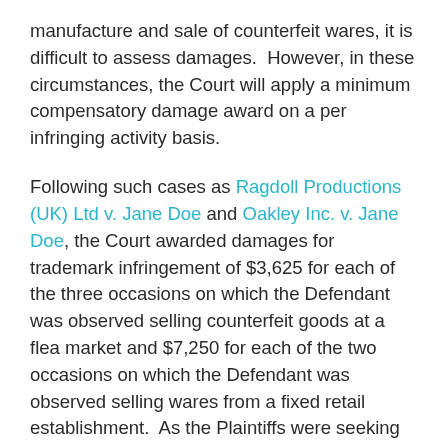manufacture and sale of counterfeit wares, it is difficult to assess damages. However, in these circumstances, the Court will apply a minimum compensatory damage award on a per infringing activity basis.
Following such cases as Ragdoll Productions (UK) Ltd v. Jane Doe and Oakley Inc. v. Jane Doe, the Court awarded damages for trademark infringement of $3,625 for each of the three occasions on which the Defendant was observed selling counterfeit goods at a flea market and $7,250 for each of the two occasions on which the Defendant was observed selling wares from a fixed retail establishment. As the Plaintiffs were seeking damages on behalf of the trademark owner, MI, and the licensee/distributor, MCI/Fred Deeley, these amounts were doubled for a total of $65,250, payable jointly and severally by the Defendants.